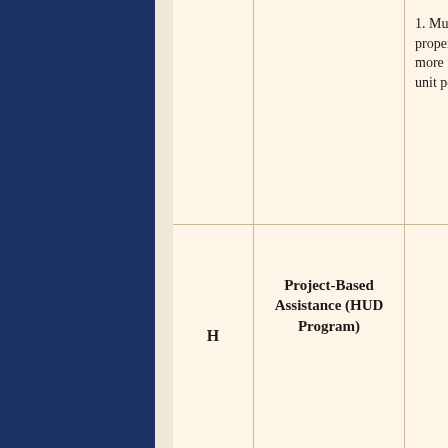|  | Program | Criteria | Year |
| --- | --- | --- | --- |
|  |  | 1. Multifamily property receiving more than $5,000 per unit per year | Pre-1978 |
| H | Project-Based Assistance (HUD Program) |  |  |